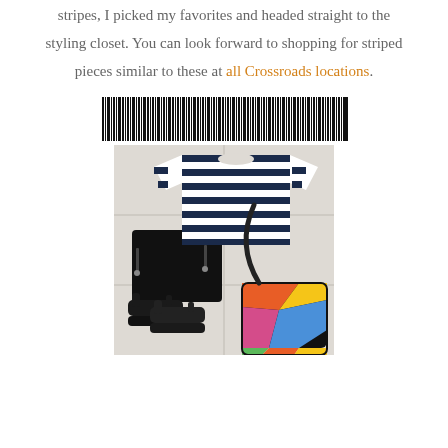stripes, I picked my favorites and headed straight to the styling closet. You can look forward to shopping for striped pieces similar to these at all Crossroads locations.
[Figure (other): A black and white barcode strip spanning horizontally]
[Figure (photo): Flat lay of clothing items including a navy striped t-shirt, black denim shorts, black sandals, and a colorful geometric patchwork shoulder bag on a light tiled surface]